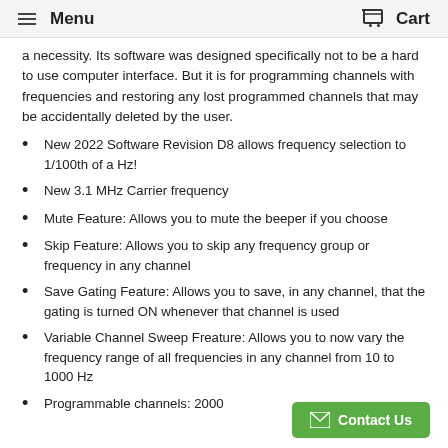Menu  Cart
a necessity. Its software was designed specifically not to be a hard to use computer interface. But it is for programming channels with frequencies and restoring any lost programmed channels that may be accidentally deleted by the user.
New 2022 Software Revision D8 allows frequency selection to 1/100th of a Hz!
New 3.1 MHz Carrier frequency
Mute Feature: Allows you to mute the beeper if you choose
Skip Feature: Allows you to skip any frequency group or frequency in any channel
Save Gating Feature: Allows you to save, in any channel, that the gating is turned ON whenever that channel is used
Variable Channel Sweep Freature: Allows you to now vary the frequency range of all frequencies in any channel from 10 to 1000 Hz
Programmable channels: 2000